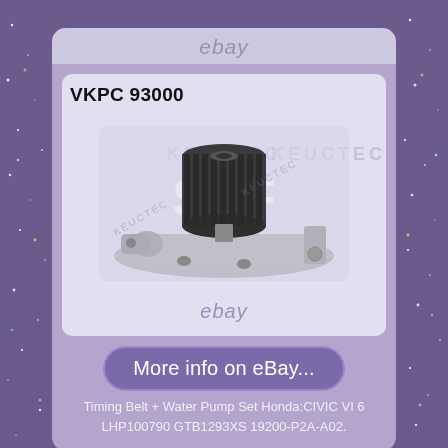[Figure (photo): Product listing card on eBay showing a water pump (VKPC 93000) for Honda CIVIC VI. The card has a purple/mauve background with a product image showing a metal water pump with a ribbed pulley gear. Text 'ebay' watermark visible. A 'More info on eBay...' button appears below the product image.]
VKPC 93000
More info on eBay...
Timing Belt + Water Pump Set Honda:CIVIC VI 6 LHP100790 GTB1293XS 19200-P2A-A02.